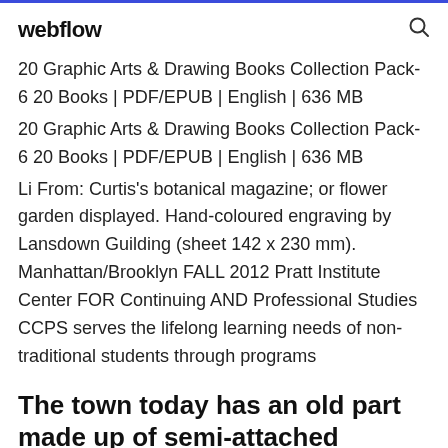webflow
20 Graphic Arts & Drawing Books Collection Pack-6 20 Books | PDF/EPUB | English | 636 MB
20 Graphic Arts & Drawing Books Collection Pack-6 20 Books | PDF/EPUB | English | 636 MB
Li From: Curtis’s botanical magazine; or flower garden displayed. Hand-coloured engraving by Lansdown Guilding (sheet 142 x 230 mm). Manhattan/Brooklyn FALL 2012 Pratt Institute Center FOR Continuing AND Professional Studies CCPS serves the lifelong learning needs of non-traditional students through programs
The town today has an old part made up of semi-attached